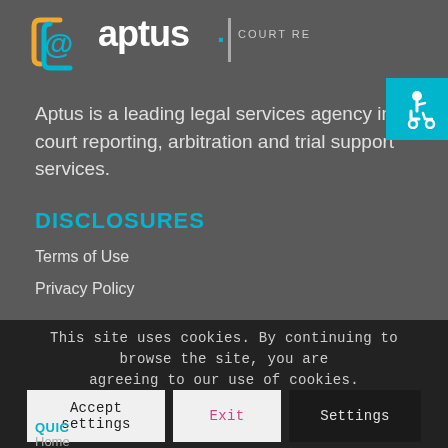[Figure (logo): Aptus Court Reporting logo with @ symbol in teal/gold bracket design and white text reading 'aptus. COURT REPORTING']
[Figure (other): Accessibility icon button (wheelchair symbol) in teal/cyan square button]
Aptus is a leading legal services agency in court reporting, arbitration and trial support services.
DISCLOSURES
Terms of Use
Privacy Policy
This site uses cookies. By continuing to browse the site, you are agreeing to our use of cookies.
Accept settings | Exit | Settings
QUIC...
Home